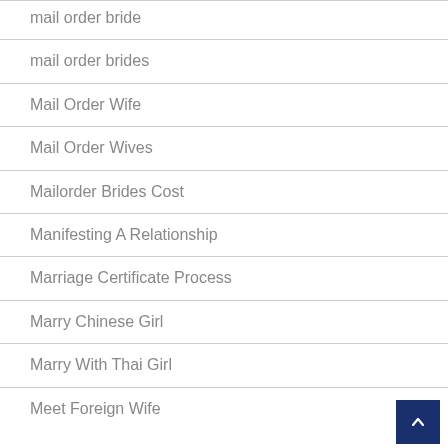mail order bride
mail order brides
Mail Order Wife
Mail Order Wives
Mailorder Brides Cost
Manifesting A Relationship
Marriage Certificate Process
Marry Chinese Girl
Marry With Thai Girl
Meet Foreign Wife